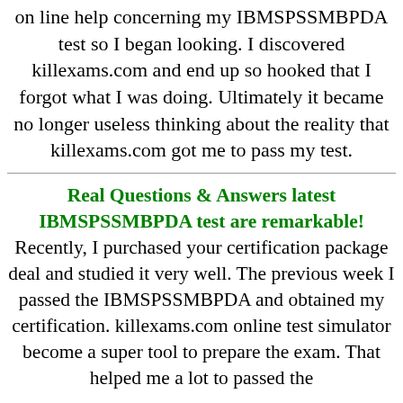on line help concerning my IBMSPSSMBPDA test so I began looking. I discovered killexams.com and end up so hooked that I forgot what I was doing. Ultimately it became no longer useless thinking about the reality that killexams.com got me to pass my test.
Real Questions & Answers latest IBMSPSSMBPDA test are remarkable! Recently, I purchased your certification package deal and studied it very well. The previous week I passed the IBMSPSSMBPDA and obtained my certification. killexams.com online test simulator become a super tool to prepare the exam. That helped me a lot to passed the